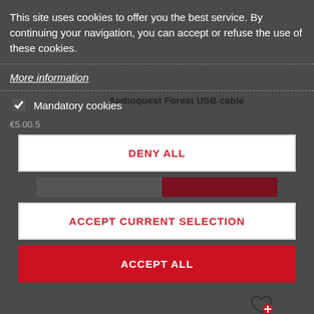This site uses cookies to offer you the best service. By continuing your navigation, you can accept or refuse the use of these cookies.
More information
Mandatory cookies
Audioquest Forest USB cable
DENY ALL
ACCEPT CURRENT SELECTION
ACCEPT ALL